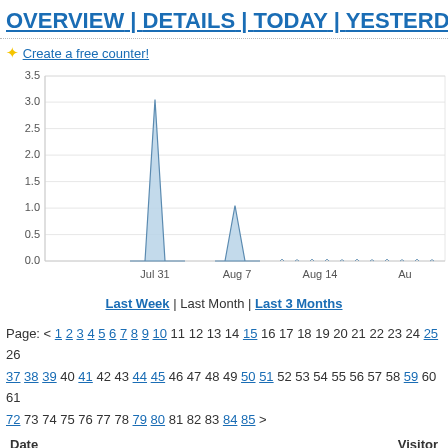OVERVIEW | DETAILS | TODAY | YESTERDAY |
✦ Create a free counter!
[Figure (area-chart): Area chart showing visitor spikes around Jul 31 (~3.05) and Aug 7 (~1.05), with y-axis from 0.0 to 3.5]
Last Week | Last Month | Last 3 Months
Page: < 1 2 3 4 5 6 7 8 9 10 11 12 13 14 15 16 17 18 19 20 21 22 23 24 25 26 37 38 39 40 41 42 43 44 45 46 47 48 49 50 51 52 53 54 55 56 57 58 59 60 61 72 73 74 75 76 77 78 79 80 81 82 83 84 85 >
| Date | Visitor |
| --- | --- |
| April 21, 2017 | 6 |
| April 20, 2017 | 2 |